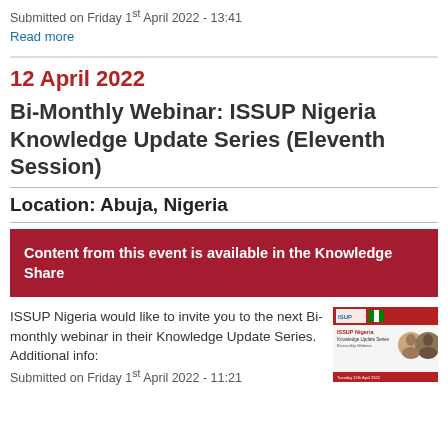Submitted on Friday 1st April 2022 - 13:41
Read more
12 April 2022
Bi-Monthly Webinar: ISSUP Nigeria Knowledge Update Series (Eleventh Session)
Location: Abuja, Nigeria
Content from this event is available in the Knowledge Share
ISSUP Nigeria would like to invite you to the next Bi-monthly webinar in their Knowledge Update Series.
Additional info:
[Figure (other): ISSUP Nigeria Knowledge Update Series webinar promotional image with speaker photos]
Submitted on Friday 1st April 2022 - 11:21